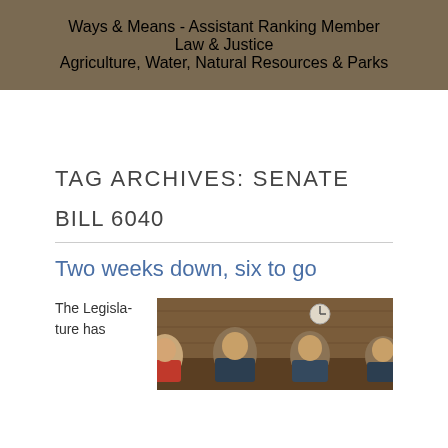Ways & Means - Assistant Ranking Member
Law & Justice
Agriculture, Water, Natural Resources & Parks
TAG ARCHIVES: SENATE BILL 6040
Two weeks down, six to go
The Legislature has
[Figure (photo): People seated at a legislative committee hearing table in a wood-paneled room, with a clock visible on the wall in the background.]